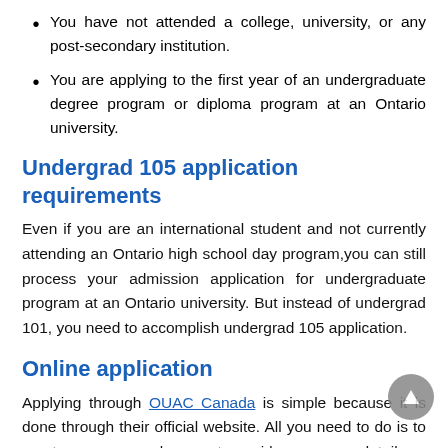You have not attended a college, university, or any post-secondary institution.
You are applying to the first year of an undergraduate degree program or diploma program at an Ontario university.
Undergrad 105 application requirements
Even if you are an international student and not currently attending an Ontario high school day program,you can still process your admission application for undergraduate program at an Ontario university. But instead of undergrad 101, you need to accomplish undergrad 105 application.
Online application
Applying through OUAC Canada is simple because it is done through their official website. All you need to do is to create your personal account, provide necessary details,